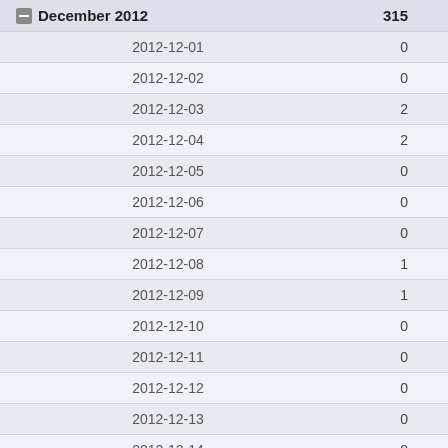| Date | Count |
| --- | --- |
| December 2012 | 315 |
| 2012-12-01 | 0 |
| 2012-12-02 | 0 |
| 2012-12-03 | 2 |
| 2012-12-04 | 2 |
| 2012-12-05 | 0 |
| 2012-12-06 | 0 |
| 2012-12-07 | 0 |
| 2012-12-08 | 1 |
| 2012-12-09 | 1 |
| 2012-12-10 | 0 |
| 2012-12-11 | 0 |
| 2012-12-12 | 0 |
| 2012-12-13 | 0 |
| 2012-12-14 | 0 |
| 2012-12-15 | 0 |
| 2012-12-16 | 189 |
| 2012-12-17 | 109 |